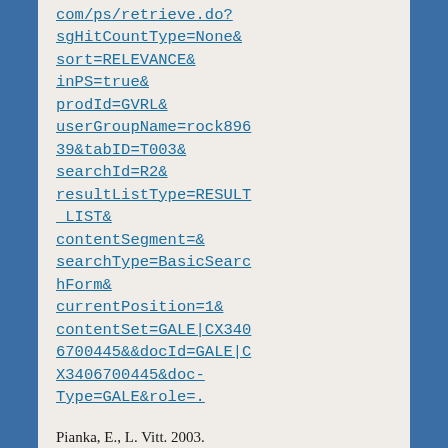com/ps/retrieve.do?sgHitCountType=None&sort=RELEVANCE&inPS=true&prodId=GVRL&userGroupName=rock89639&tabID=T003&searchId=R2&resultListType=RESULT_LIST&contentSegment=&searchType=BasicSearchForm&currentPosition=1&contentSet=GALE|CX3406700445&&docId=GALE|CX3406700445&doc-Type=GALE&role=.
Pianka, E., L. Vitt. 2003. Lizards: Windows to the Evolution